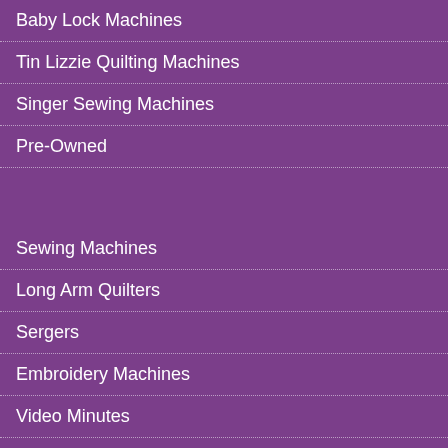Baby Lock Machines
Tin Lizzie Quilting Machines
Singer Sewing Machines
Pre-Owned
Sewing Machines
Long Arm Quilters
Sergers
Embroidery Machines
Video Minutes
Newsletters
CONTACT US